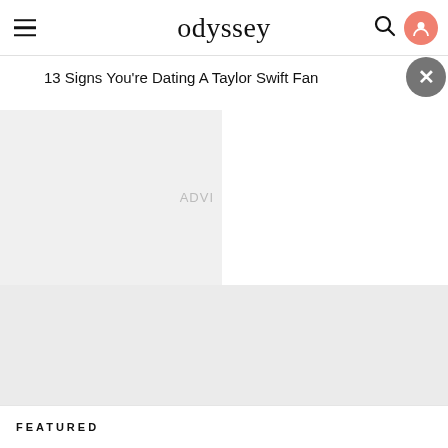odyssey
13 Signs You're Dating A Taylor Swift Fan
ADVI
FEATURED